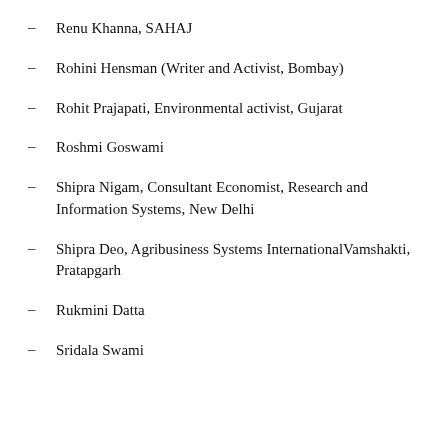Renu Khanna, SAHAJ
Rohini Hensman (Writer and Activist, Bombay)
Rohit Prajapati, Environmental activist, Gujarat
Roshmi Goswami
Shipra Nigam, Consultant Economist, Research and Information Systems, New Delhi
Shipra Deo, Agribusiness Systems InternationalVamshakti, Pratapgarh
Rukmini Datta
Sridala Swami